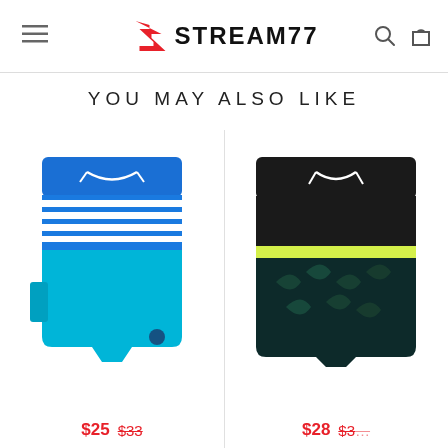[Figure (logo): Stream77 logo with red swoosh S icon and bold black STREAM77 text]
YOU MAY ALSO LIKE
[Figure (photo): Blue and cyan board shorts with white horizontal stripes on the upper portion and white drawstring]
$25  $33
[Figure (photo): Black board shorts with white drawstring, yellow-green stripe accent, and tropical pattern on lower portion]
$28  $3...